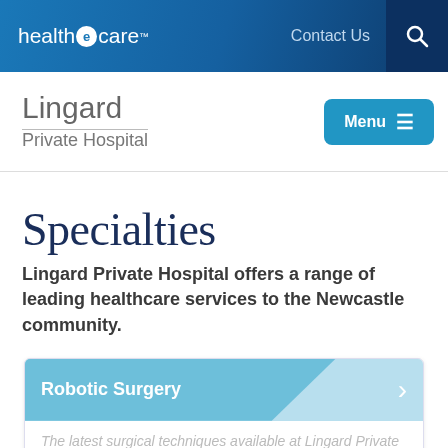health e care™  Contact Us 🔍
Lingard Private Hospital
Specialties
Lingard Private Hospital offers a range of leading healthcare services to the Newcastle community.
Robotic Surgery
The latest surgical techniques available at Lingard Private Hospital...